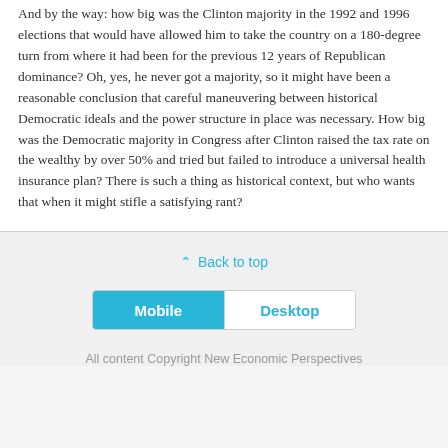And by the way: how big was the Clinton majority in the 1992 and 1996 elections that would have allowed him to take the country on a 180-degree turn from where it had been for the previous 12 years of Republican dominance? Oh, yes, he never got a majority, so it might have been a reasonable conclusion that careful maneuvering between historical Democratic ideals and the power structure in place was necessary. How big was the Democratic majority in Congress after Clinton raised the tax rate on the wealthy by over 50% and tried but failed to introduce a universal health insurance plan? There is such a thing as historical context, but who wants that when it might stifle a satisfying rant?
Back to top
[Figure (infographic): Toggle bar with Mobile (active, blue) and Desktop (inactive, white) options]
All content Copyright New Economic Perspectives